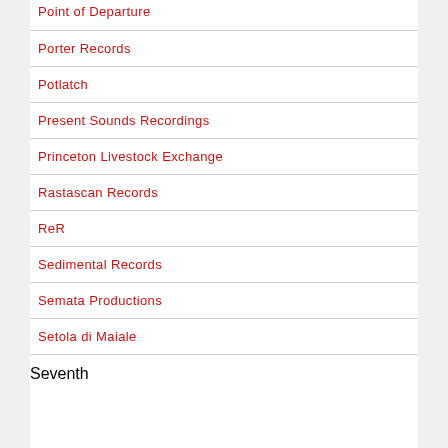Point of Departure
Porter Records
Potlatch
Present Sounds Recordings
Princeton Livestock Exchange
Rastascan Records
ReR
Sedimental Records
Semata Productions
Setola di Maiale
Seventh